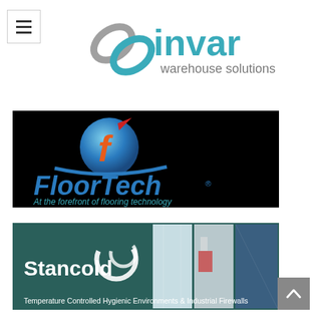[Figure (logo): Hamburger menu icon, three horizontal lines inside a light bordered square]
[Figure (logo): Invar Warehouse Solutions logo with chain-link graphic and teal/grey text]
[Figure (logo): FloorTech logo on black background with orange and blue letter F globe and tagline 'At the forefront of flooring technology']
[Figure (logo): Stancold logo on dark teal background with photos of temperature controlled environments and text 'Temperature Controlled Hygienic Environments & Industrial Firewalls']